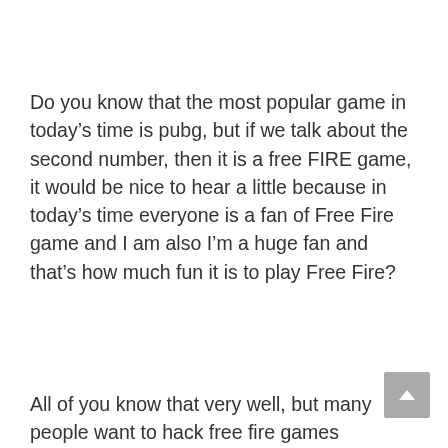Do you know that the most popular game in today's time is pubg, but if we talk about the second number, then it is a free FIRE game, it would be nice to hear a little because in today's time everyone is a fan of Free Fire game and I am also I'm a huge fan and that's how much fun it is to play Free Fire?
All of you know that very well, but many people want to hack free fire games